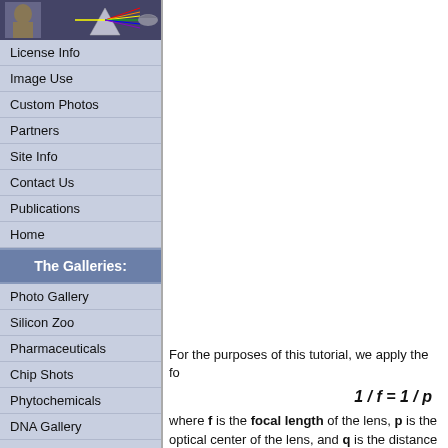[Figure (illustration): Navigation header with portrait and prism light refraction image]
License Info
Image Use
Custom Photos
Partners
Site Info
Contact Us
Publications
Home
The Galleries:
Photo Gallery
Silicon Zoo
Pharmaceuticals
Chip Shots
Phytochemicals
DNA Gallery
Microscapes
Vitamins
Amino Acids
For the purposes of this tutorial, we apply the fo
where f is the focal length of the lens, p is the optical center of the lens, and q is the distance lens.
This tutorial examines what happens to the "rea a simple plano-convex lens when the object fac greater than two times the focal length of the